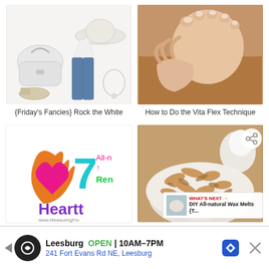[Figure (photo): Fashion collage: white handbag, white tank top, flared jeans, white sun hat, white wedge shoes, white necklace on white/light background]
{Friday's Fancies} Rock the White
[Figure (photo): Close-up of a person's bare feet being touched/massaged, warm-toned wooden floor background]
How to Do the Vita Flex Technique
[Figure (logo): 7 Hearts logo with colorful bird/heart graphic, teal '7', purple 'Heart', pink/green 'All-n Ren' text, www.MeasuringFlo... website]
7 All-natural Home...
[Figure (photo): Bowl of granola/muesli oats cereal with milk, close-up overhead shot]
How to Soak Your Breakfast...
WHAT'S NEXT → DIY All-natural Wax Melts {T...
Leesburg  OPEN  10AM–7PM  241 Fort Evans Rd NE, Leesburg